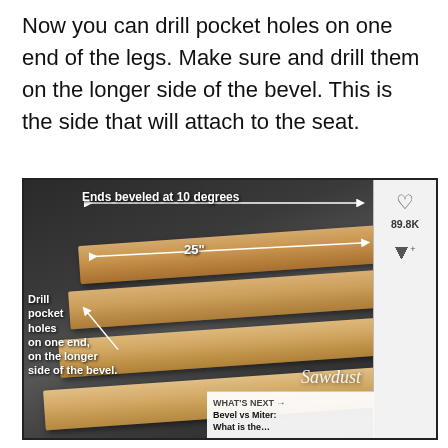Now you can drill pocket holes on one end of the legs. Make sure and drill them on the longer side of the bevel. This is the side that will attach to the seat.
[Figure (photo): Photo of wooden boards (legs) on a dark surface, annotated with white text and arrows indicating: 'Ends beveled at 10 degrees', '25"', and 'Drill pocket holes on one end, on the longer side of the bevel.' Sidebar shows a heart icon, 89.8K count, and share icon. Bottom right shows a 'What's Next' link for 'Bevel vs Miter: What is the...']